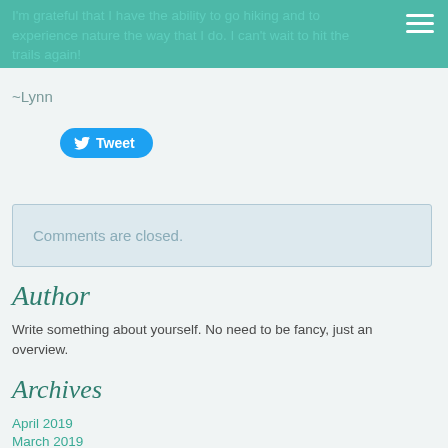I'm grateful that I have the ability to go hiking and to experience nature the way that I do. I can't wait to hit the trails again!
~Lynn
[Figure (other): Twitter Tweet button with bird logo]
Comments are closed.
Author
Write something about yourself. No need to be fancy, just an overview.
Archives
April 2019
March 2019
February 2019